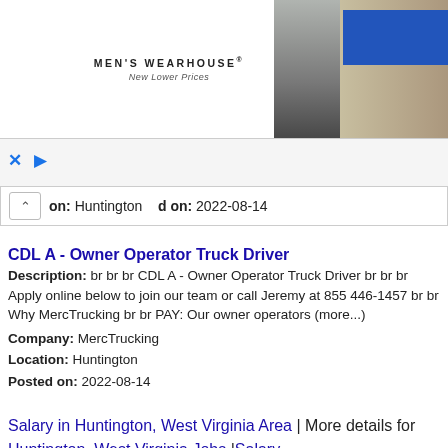[Figure (photo): Men's Wearhouse advertisement banner with logo, couple in formal wear, man in suit, and blue button]
on: Huntington
d on: 2022-08-14
CDL A - Owner Operator Truck Driver
Description: br br br CDL A - Owner Operator Truck Driver br br br Apply online below to join our team or call Jeremy at 855 446-1457 br br Why MercTrucking br br PAY: Our owner operators (more...)
Company: MercTrucking
Location: Huntington
Posted on: 2022-08-14
Salary in Huntington, West Virginia Area | More details for Huntington, West Virginia Jobs |Salary
Class A Owner Operators - Flex Home Time plus Sign On
Description: br br br Class A Owner Operators - Flex Home Time plus Sign On br br Please apply online below or call 877 747-7831 br br As we position the company for continued growth, we view that (more...)